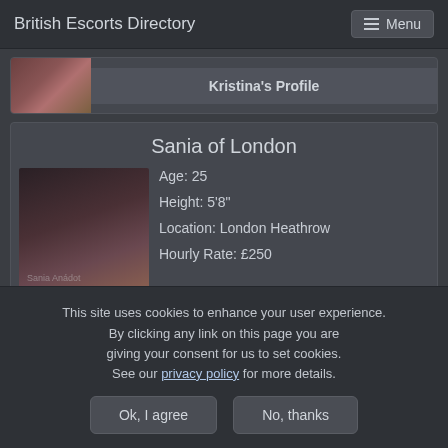British Escorts Directory
Kristina's Profile
Sania of London
Age: 25
Height: 5'8"
Location: London Heathrow
Hourly Rate: £250
Sania's Profile
This site uses cookies to enhance your user experience. By clicking any link on this page you are giving your consent for us to set cookies. See our privacy policy for more details.
Ok, I agree
No, thanks